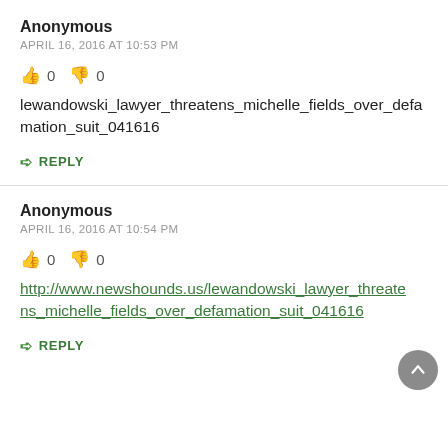Anonymous
APRIL 16, 2016 AT 10:53 PM
👍 0 👎 0
lewandowski_lawyer_threatens_michelle_fields_over_defamation_suit_041616
↪ REPLY
Anonymous
APRIL 16, 2016 AT 10:54 PM
👍 0 👎 0
http://www.newshounds.us/lewandowski_lawyer_threatens_michelle_fields_over_defamation_suit_041616
↪ REPLY